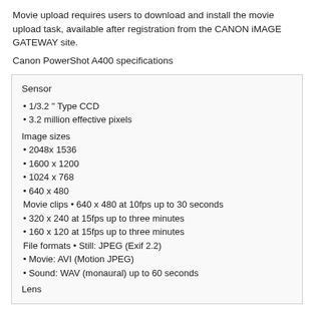Movie upload requires users to download and install the movie upload task, available after registration from the CANON iMAGE GATEWAY site.
Canon PowerShot A400 specifications
| Sensor | • 1/3.2 " Type CCD
• 3.2 million effective pixels |
| Image sizes | • 2048x 1536
• 1600 x 1200
• 1024 x 768
• 640 x 480 |
| Movie clips | • 640 x 480 at 10fps up to 30 seconds
• 320 x 240 at 15fps up to three minutes
• 160 x 120 at 15fps up to three minutes |
| File formats | • Still: JPEG (Exif 2.2)
• Movie: AVI (Motion JPEG)
• Sound: WAV (monaural) up to 60 seconds |
| Lens |  |